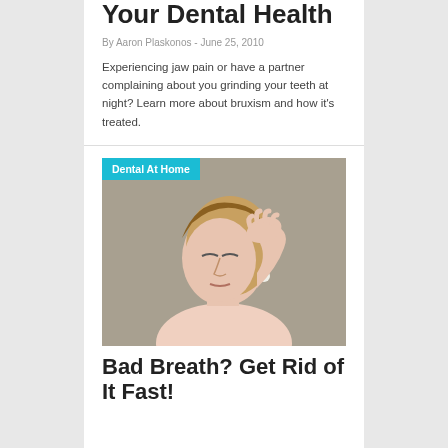Your Dental Health
By Aaron Plaskonos - June 25, 2010
Experiencing jaw pain or have a partner complaining about you grinding your teeth at night? Learn more about bruxism and how it's treated.
[Figure (photo): Woman holding her nose with a disgusted expression, suggesting bad breath]
Bad Breath? Get Rid of It Fast!